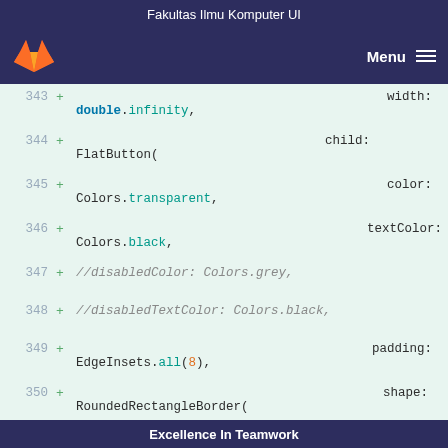Fakultas Ilmu Komputer UI
[Figure (logo): GitLab fox logo in orange and red on dark navy navigation bar with Menu hamburger icon]
343  +                           width:
                                 double.infinity,
344  +                           child:
                                 FlatButton(
345  +                           color:
                                 Colors.transparent,
346  +                           textColor:
                                 Colors.black,
347  +       //disabledColor: Colors.grey,
348  +       //disabledTextColor: Colors.black,
349  +                           padding:
                                 EdgeInsets.all(8),
350  +                           shape:
                                 RoundedRectangleBorder(
351  +                           borderRadius: regularBorderRadius,
352  +                           ...
Excellence In Teamwork